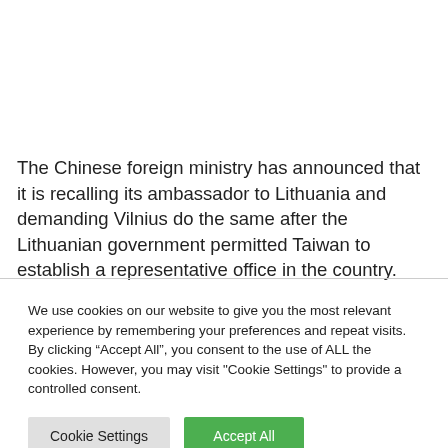The Chinese foreign ministry has announced that it is recalling its ambassador to Lithuania and demanding Vilnius do the same after the Lithuanian government permitted Taiwan to establish a representative office in the country.
We use cookies on our website to give you the most relevant experience by remembering your preferences and repeat visits. By clicking “Accept All”, you consent to the use of ALL the cookies. However, you may visit "Cookie Settings" to provide a controlled consent.